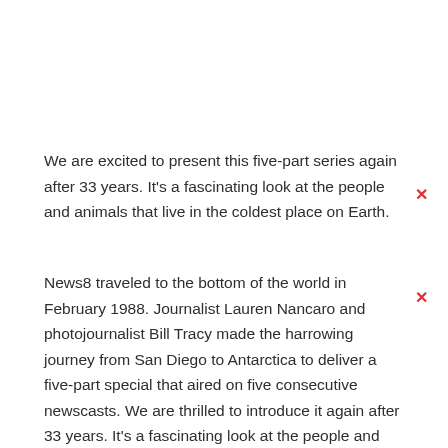We are excited to present this five-part series again after 33 years. It's a fascinating look at the people and animals that live in the coldest place on Earth.
News8 traveled to the bottom of the world in February 1988. Journalist Lauren Nancaro and photojournalist Bill Tracy made the harrowing journey from San Diego to Antarctica to deliver a five-part special that aired on five consecutive newscasts. We are thrilled to introduce it again after 33 years. It's a fascinating look at the people and animals that live in the coldest place on Earth.